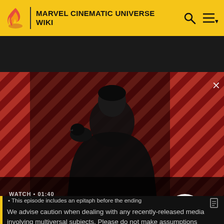MARVEL CINEMATIC UNIVERSE WIKI
[Figure (screenshot): Video thumbnail with dark-cloaked figure holding a raven on shoulder against red diagonal striped background. Title card reads 'The Sandman Will Keep You Awake - The Loop'. Watch duration 01:40 shown. Play button visible.]
This episode includes an epitaph before the ending
We advise caution when dealing with any recently-released media involving multiversal subjects. Please do not make assumptions regarding confusing wording, other sites' speculation, and people's headcanon around the internet.